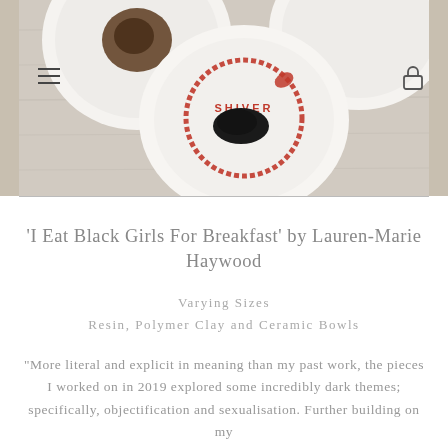[Figure (photo): Overhead view of white ceramic plates/bowls on a light wooden surface. The center plate has a red ouroboros snake design with text 'SHIVER' and a black resin shape. A hamburger menu icon is visible top-left and a lock icon top-right.]
'I Eat Black Girls For Breakfast' by Lauren-Marie Haywood
Varying Sizes
Resin, Polymer Clay and Ceramic Bowls
"More literal and explicit in meaning than my past work, the pieces I worked on in 2019 explored some incredibly dark themes; specifically, objectification and sexualisation. Further building on my